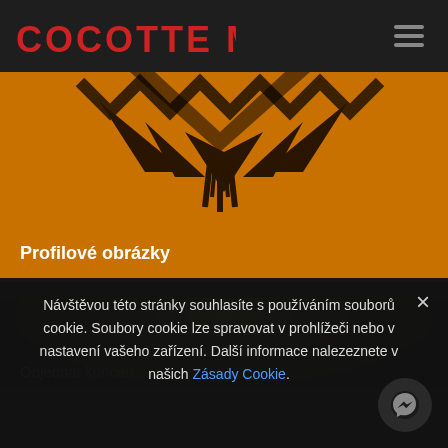[Figure (logo): Cocotte Minute band logo in red angular rune-style lettering on dark background]
[Figure (illustration): Orange banner with geometric/tribal dark triangular logo mark and text 'Profilové obrázky']
Profilové obrázky
[Figure (photo): Dark concert photo with stage lights and crowd]
Objednat koncert
Návštěvou této stránky souhlasíte s používáním souborů cookie. Soubory cookie lze spravovat v prohlížeči nebo v nastavení vašeho zařízení. Další informace naleznete v našich Zásady Cookie.